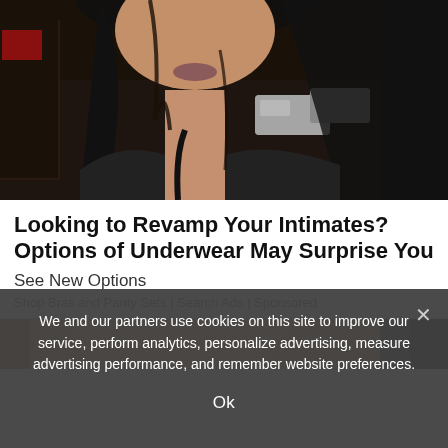[Figure (photo): Woman with long dark hair photographed at night on a city street with cars and lights in the background, wearing a black top]
Looking to Revamp Your Intimates? Options of Underwear May Surprise You
See New Options
Shop Bras and Panty Sets | Search Ads | Sponsored
[Figure (photo): Partial view of a woman with blonde hair, bottom portion of page, partially obscured by cookie consent overlay]
We and our partners use cookies on this site to improve our service, perform analytics, personalize advertising, measure advertising performance, and remember website preferences.
Ok